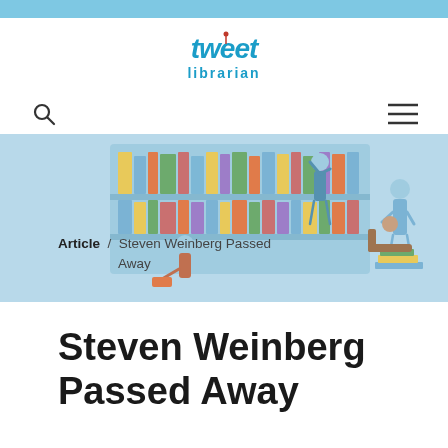[Figure (logo): Tweet Librarian logo — stylized blue graffiti text 'tweet' with a drawing pin, and 'librarian' in blue below]
[Figure (illustration): Library scene illustration with a bookshelf, a person reaching for books, a person reading in a chair, and a person standing — rendered in light blue tones]
Article / Steven Weinberg Passed Away
Steven Weinberg Passed Away